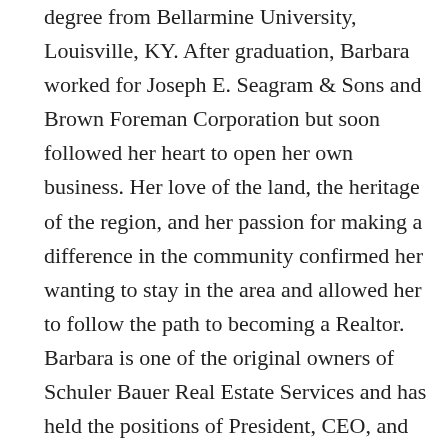degree from Bellarmine University, Louisville, KY. After graduation, Barbara worked for Joseph E. Seagram & Sons and Brown Foreman Corporation but soon followed her heart to open her own business. Her love of the land, the heritage of the region, and her passion for making a difference in the community confirmed her wanting to stay in the area and allowed her to follow the path to becoming a Realtor. Barbara is one of the original owners of Schuler Bauer Real Estate Services and has held the positions of President, CEO, and Principal Broker (Indiana and Kentucky) and Salesperson/Realtor. While every transaction is an achievement, Barbara is incredibly proud of her role in Schuler Bauer's success in becoming the number one Real Estate company in Southern Indiana and third largest in Louisville Metro.